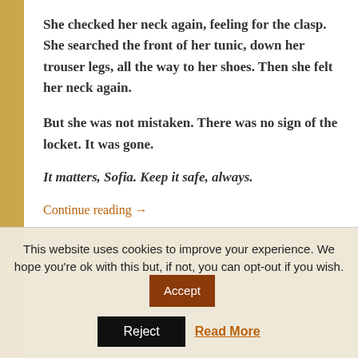She checked her neck again, feeling for the clasp. She searched the front of her tunic, down her trouser legs, all the way to her shoes. Then she felt her neck again.
But she was not mistaken. There was no sign of the locket. It was gone.
It matters, Sofia. Keep it safe, always.
Continue reading →
Tagged adventure, bravery, city, family, fantasy, mystery,
This website uses cookies to improve your experience. We hope you're ok with this but, if not, you can opt-out if you wish.
Accept
Reject
Read More